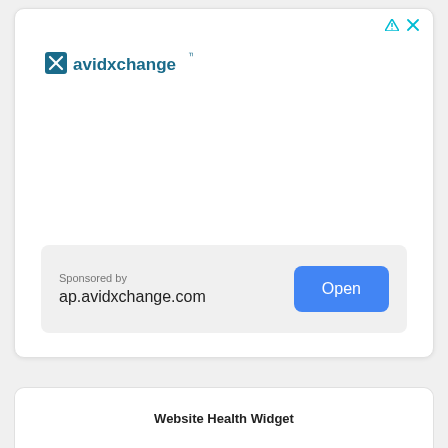[Figure (logo): AvidXchange logo with teal square icon and dark teal text]
Sponsored by
ap.avidxchange.com
Open
Website Health Widget